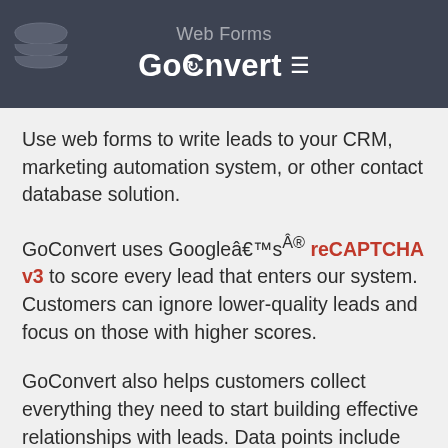Web Forms — GoConvert
Use web forms to write leads to your CRM, marketing automation system, or other contact database solution.
GoConvert uses Google’s® reCAPTCHA v3 to score every lead that enters our system. Customers can ignore lower-quality leads and focus on those with higher scores.
GoConvert also helps customers collect everything they need to start building effective relationships with leads. Data points include location and IP information, name and email, gender, age, and phone number. And if a contact is missing info, GoConvert works around the clock to automatically fill in missing data. Audience